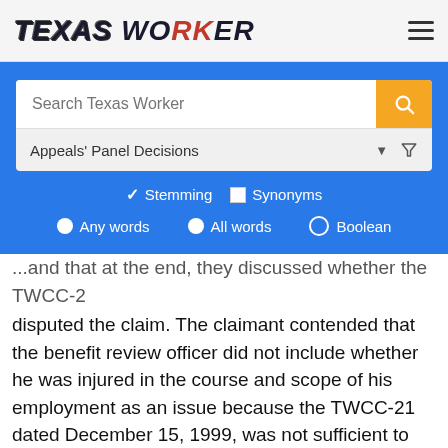TEXAS WORKER
[Figure (screenshot): Search interface with search box labeled 'Search Texas Worker', dropdown for 'Appeals' Panel Decisions', Stemming/Synonyms checkboxes, and Any words/All words/Boolean radio buttons]
disputed the claim. The claimant contended that the benefit review officer did not include whether he was injured in the course and scope of his employment as an issue because the TWCC-21 dated December 15, 1999, was not sufficient to dispute that he was injured in the course and scope of his employment. The hearing officer did not make a determination of whether good cause existed to add the requested issue, did